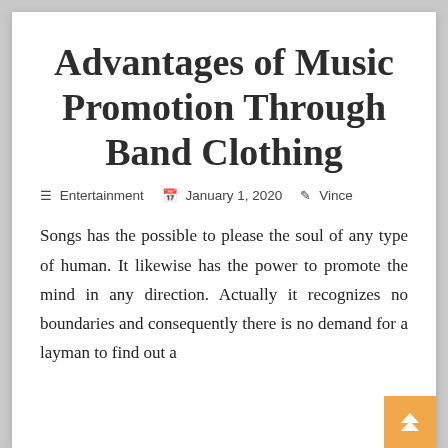Advantages of Music Promotion Through Band Clothing
Entertainment   January 1, 2020   Vince
Songs has the possible to please the soul of any type of human. It likewise has the power to promote the mind in any direction. Actually it recognizes no boundaries and consequently there is no demand for a layman to find out a